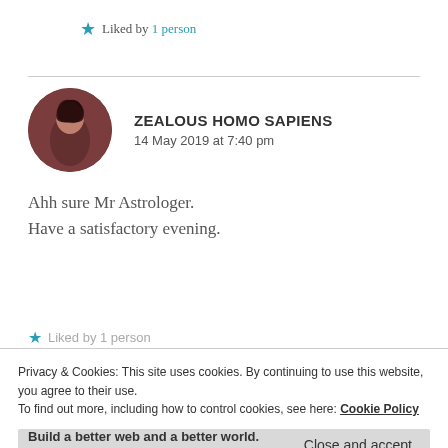★ Liked by 1 person
ZEALOUS HOMO SAPIENS
14 May 2019 at 7:40 pm
[Figure (illustration): Circular avatar photo of a person with dark hair against a dark reddish-brown background]
Ahh sure Mr Astrologer.
Have a satisfactory evening.
★ Liked by 1 person
Privacy & Cookies: This site uses cookies. By continuing to use this website, you agree to their use.
To find out more, including how to control cookies, see here: Cookie Policy
Close and accept
Build a better web and a better world.